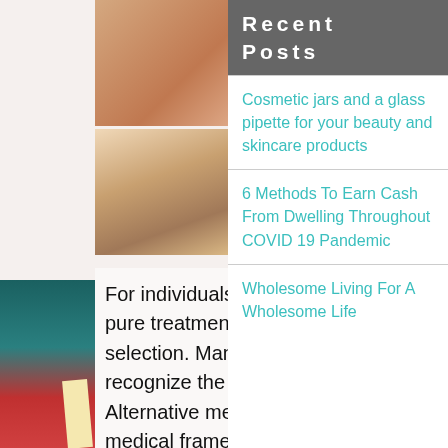[Figure (photo): 2x2 grid of photos: top-left shows hands massage/spa treatment, top-right shows a person receiving facial treatment, bottom-left shows woman receiving neck/shoulder massage, bottom-right shows a bowl of colorful vegetables including broccoli, peppers, and other produce]
For individuals who are allergic to medical over the counter drugs pure treatments and various medicine for heartburn is the suitable selection. Many practitioners of typical medication additionally recognize the therapeutic potential of some alternative practices. Alternative medication has also seen the diversification of the medical framework. That is the United States, alternative medicine is usually taught in medical schools and not typically in U.S. hospitals.
Recent Posts
Cosmetic jars and a glass pipette for your beauty and skincare products
6 Methods To Earn Cash From Dwelling Throughout COVID 19 Pandemic
Wholesome Living For A Wholesome Life